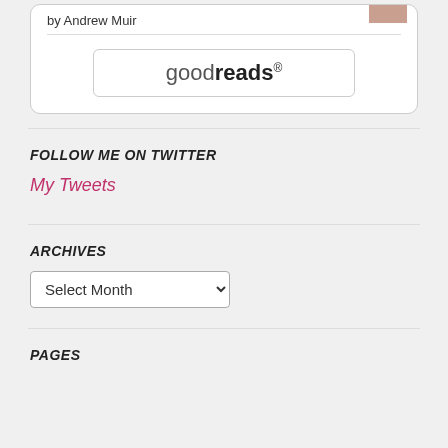by Andrew Muir
[Figure (logo): goodreads button/logo with rounded rectangle border]
FOLLOW ME ON TWITTER
My Tweets
ARCHIVES
Select Month
PAGES